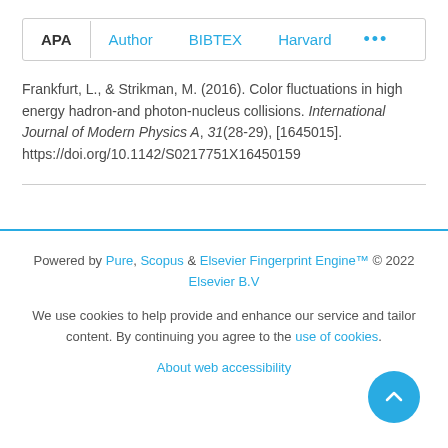APA  Author  BIBTEX  Harvard  ...
Frankfurt, L., & Strikman, M. (2016). Color fluctuations in high energy hadron-and photon-nucleus collisions. International Journal of Modern Physics A, 31(28-29), [1645015]. https://doi.org/10.1142/S0217751X16450159
Powered by Pure, Scopus & Elsevier Fingerprint Engine™ © 2022 Elsevier B.V
We use cookies to help provide and enhance our service and tailor content. By continuing you agree to the use of cookies
About web accessibility